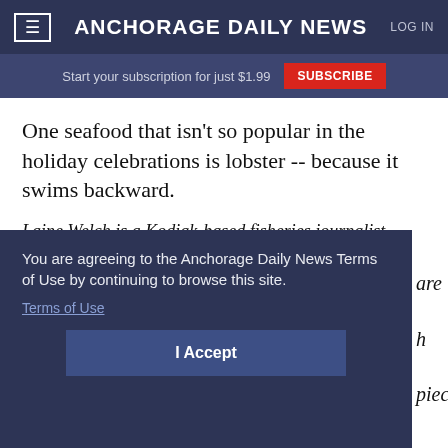Anchorage Daily News
Start your subscription for just $1.99  SUBSCRIBE
One seafood that isn't so popular in the holiday celebrations is lobster -- because it swims backward.
Laine Welch is a Kodiak-based fisheries journalist.
You are agreeing to the Anchorage Daily News Terms of Use by continuing to browse this site. Terms of Use
I Accept